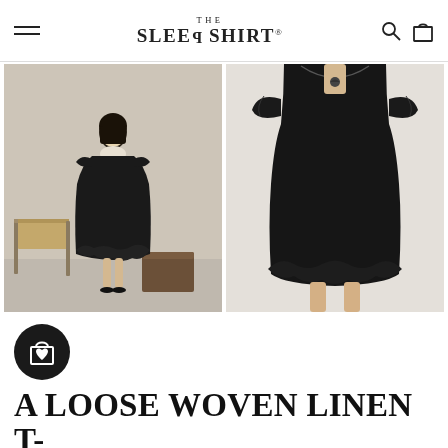THE SLEEP SHIRT®
[Figure (photo): A woman wearing a black loose woven linen dress with ruffle hem and flutter sleeves, standing in a styled room with a wooden chair and box]
[Figure (photo): Close-up of a model wearing a black loose woven linen dress with ruffle hem and flutter sleeves, showing detail of the neckline and hem]
[Figure (other): Black circular shopping bag icon with heart]
A LOOSE WOVEN LINEN T-SHIRT